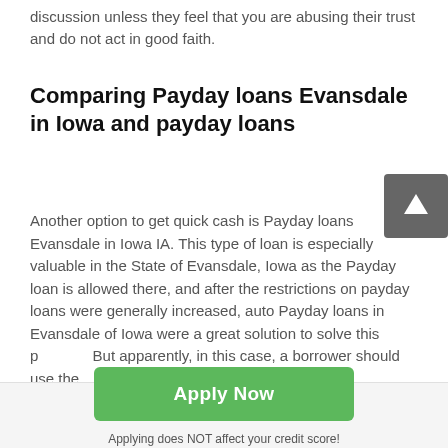discussion unless they feel that you are abusing their trust and do not act in good faith.
Comparing Payday loans Evansdale in Iowa and payday loans
Another option to get quick cash is Payday loans Evansdale in Iowa IA. This type of loan is especially valuable in the State of Evansdale, Iowa as the Payday loan is allowed there, and after the restrictions on payday loans were generally increased, auto Payday loans in Evansdale of Iowa were a great solution to solve this problem. But apparently, in this case, a borrower should use the
[Figure (other): Scroll-to-top button with upward arrow icon on dark grey background]
Apply Now
Applying does NOT affect your credit score!
No credit check to apply.